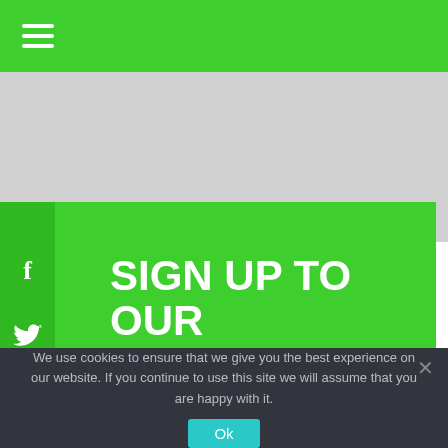[Figure (screenshot): Green navigation bar with white hamburger menu icon (three horizontal lines)]
[Figure (screenshot): Newsletter signup card on green background with social media icons (Facebook, Twitter, LinkedIn, YouTube) on sidebar, heading 'SIGN UP TO OUR NEWSLETTER', and email input field with send arrow button]
We use cookies to ensure that we give you the best experience on our website. If you continue to use this site we will assume that you are happy with it.
Ok